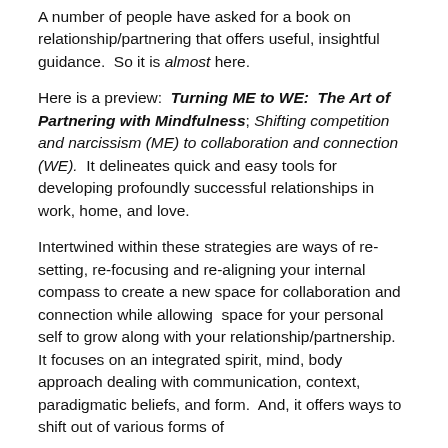A number of people have asked for a book on relationship/partnering that offers useful, insightful guidance.  So it is almost here.
Here is a preview:  Turning ME to WE:  The Art of Partnering with Mindfulness; Shifting competition and narcissism (ME) to collaboration and connection (WE).  It delineates quick and easy tools for developing profoundly successful relationships in work, home, and love.
Intertwined within these strategies are ways of re-setting, re-focusing and re-aligning your internal compass to create a new space for collaboration and connection while allowing  space for your personal self to grow along with your relationship/partnership.  It focuses on an integrated spirit, mind, body approach dealing with communication, context, paradigmatic beliefs, and form.  And, it offers ways to shift out of various forms of